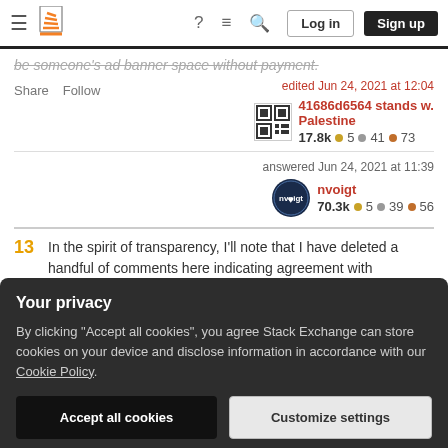Stack Exchange — Log in | Sign up
be someone's ad banner space without payment.
Share   Follow
edited Jun 24, 2021 at 12:04 — 41686d6564 stands w. Palestine — 17.8k • 5 • 41 • 73
answered Jun 24, 2021 at 11:39 — nvoigt — 70.3k • 5 • 39 • 56
13  In the spirit of transparency, I'll note that I have deleted a handful of comments here indicating agreement with
Your privacy
By clicking "Accept all cookies", you agree Stack Exchange can store cookies on your device and disclose information in accordance with our Cookie Policy.
Accept all cookies   Customize settings
be judicious and fair in what comments we remove; if any, so please try to help us out by limiting